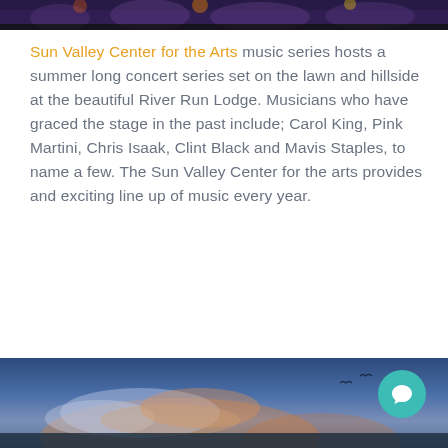[Figure (photo): Top portion of a concert or outdoor event photo showing crowd of people, partially visible at the top of the page]
Sun Valley Center for the Arts music series hosts a summer long concert series set on the lawn and hillside at the beautiful River Run Lodge. Musicians who have graced the stage in the past include; Carol King, Pink Martini, Chris Isaak, Clint Black and Mavis Staples, to name a few. The Sun Valley Center for the arts provides and exciting line up of music every year.
[Figure (photo): Bottom portion showing a dramatic sunset sky with clouds, deep blue and orange tones, outdoor landscape photo]